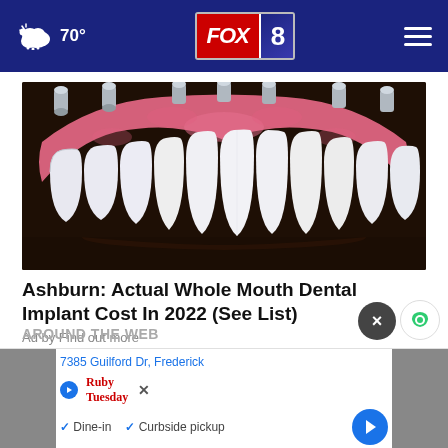FOX 8 — 70°
[Figure (photo): Close-up photo of dental implant prosthesis showing white ceramic teeth with pink gum tissue and metal implant abutments on top, displayed on a dark surface]
Ashburn: Actual Whole Mouth Dental Implant Cost In 2022 (See List)
Ad by Find out more
AROUND THE WEB
7385 Guilford Dr, Frederick
Ruby Tuesday — Dine-in  Curbside pickup